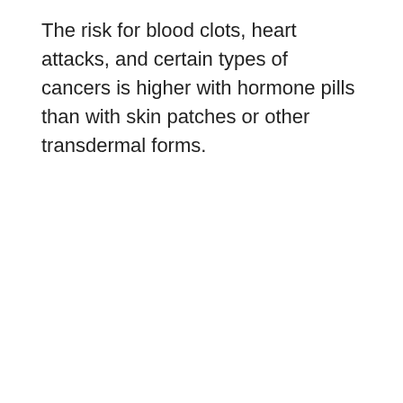The risk for blood clots, heart attacks, and certain types of cancers is higher with hormone pills than with skin patches or other transdermal forms.